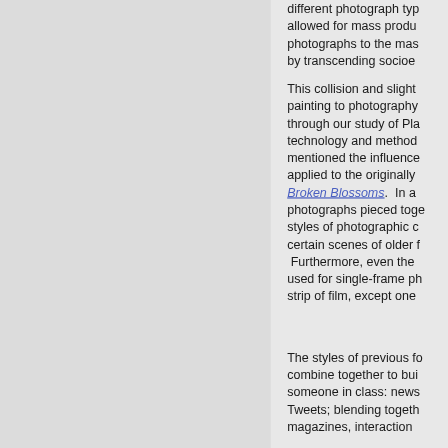[Figure (photo): A light gray textured background image occupying the left portion of the page, with a faint photographic impression visible.]
different photograph typ allowed for mass produ photographs to the mas by transcending socioe
This collision and slight painting to photography through our study of Pla technology and method mentioned the influence applied to the originally Broken Blossoms.  In a photographs pieced toge styles of photographic c certain scenes of older f Furthermore, even the used for single-frame ph strip of film, except one
The styles of previous fo combine together to bui someone in class: news Tweets; blending togeth magazines, interaction